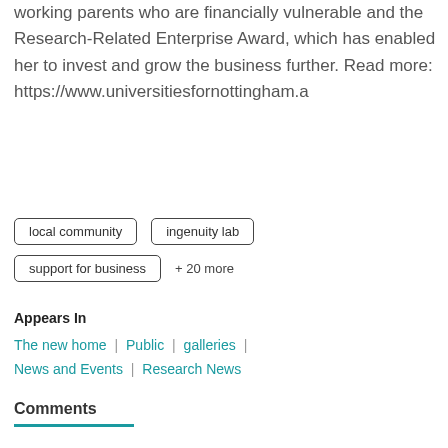working parents who are financially vulnerable and the Research-Related Enterprise Award, which has enabled her to invest and grow the business further. Read more: https://www.universitiesfornottingham.a
local community
ingenuity lab
support for business
+ 20 more
Appears In
The new home | Public | galleries | News and Events | Research News
Comments